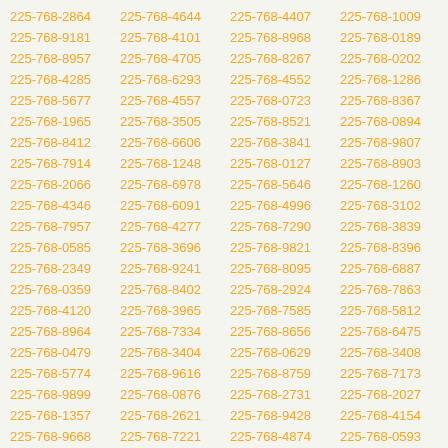225-768-2864
225-768-4644
225-768-4407
225-768-1009
225-768-9181
225-768-4101
225-768-8968
225-768-0189
225-768-8957
225-768-4705
225-768-8267
225-768-0202
225-768-4285
225-768-6293
225-768-4552
225-768-1286
225-768-5677
225-768-4557
225-768-0723
225-768-8367
225-768-1965
225-768-3505
225-768-8521
225-768-0894
225-768-8412
225-768-6606
225-768-3841
225-768-9807
225-768-7914
225-768-1248
225-768-0127
225-768-8903
225-768-2066
225-768-6978
225-768-5646
225-768-1260
225-768-4346
225-768-6091
225-768-4996
225-768-3102
225-768-7957
225-768-4277
225-768-7290
225-768-3839
225-768-0585
225-768-3696
225-768-9821
225-768-8396
225-768-2349
225-768-9241
225-768-8095
225-768-6887
225-768-0359
225-768-8402
225-768-2924
225-768-7863
225-768-4120
225-768-3965
225-768-7585
225-768-5812
225-768-8964
225-768-7334
225-768-8656
225-768-6475
225-768-0479
225-768-3404
225-768-0629
225-768-3408
225-768-5774
225-768-9616
225-768-8759
225-768-7173
225-768-9899
225-768-0876
225-768-2731
225-768-2027
225-768-1357
225-768-2621
225-768-9428
225-768-4154
225-768-9668
225-768-7221
225-768-4874
225-768-0593
225-768-3990
225-768-4493
225-768-5249
225-768-4136
225-768-6457
225-768-3511
225-768-7445
225-768-1013
225-768-6652
225-768-6658
225-768-2135
225-768-9420
225-768-3931
225-768-6469
225-768-2818
225-768-1014
225-768-0485
225-768-6256
225-768-9758
225-768-0091
225-768-2940
225-768-9947
225-768-8700
225-768-3912
225-768-7820
225-768-0120
225-768-4469
225-768-7695
225-768-9587
225-768-3355
225-768-3552
225-768-3146
225-768-4575
225-768-8405
225-768-5633
225-768-4066